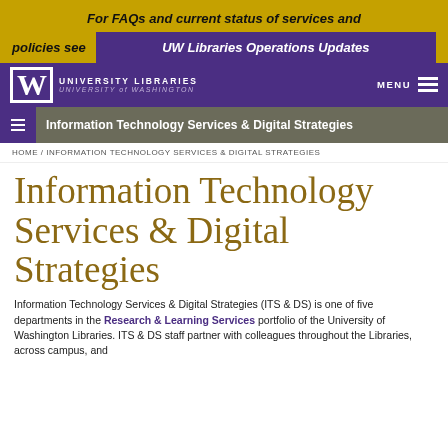For FAQs and current status of services and policies see UW Libraries Operations Updates
[Figure (logo): University of Washington Libraries logo with W mark and text]
MENU
Information Technology Services & Digital Strategies
HOME / INFORMATION TECHNOLOGY SERVICES & DIGITAL STRATEGIES
Information Technology Services & Digital Strategies
Information Technology Services & Digital Strategies (ITS & DS) is one of five departments in the Research & Learning Services portfolio of the University of Washington Libraries. ITS & DS staff partner with colleagues throughout the Libraries, across campus, and